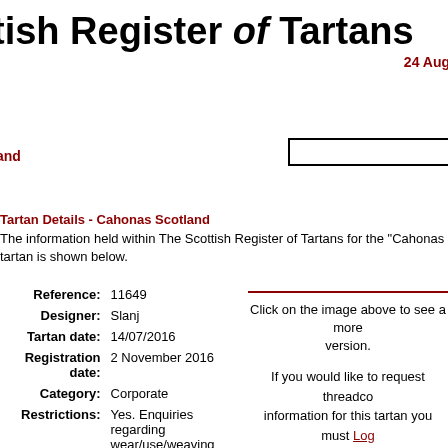tish Register of Tartans
24 Aug
and
Tartan Details - Cahonas Scotland
The information held within The Scottish Register of Tartans for the "Cahonas S" tartan is shown below.
| Field | Value |
| --- | --- |
| Reference: | 11649 |
| Designer: | Slanj |
| Tartan date: | 14/07/2016 |
| Registration date: | 2 November 2016 |
| Category: | Corporate |
| Restrictions: | Yes. Enquiries regarding wear/use/weaving must go through Slanj or Cahonas |
Click on the image above to see a more version.
If you would like to request threadco information for this tartan you must Log site. If you do not have an account, click create one.